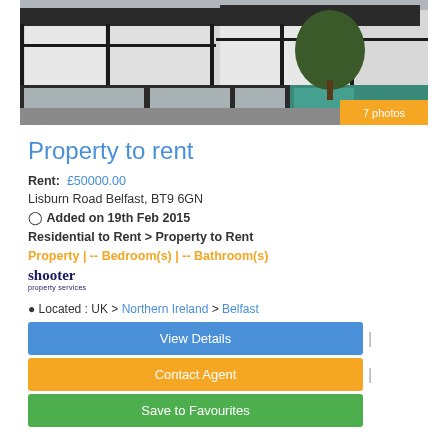[Figure (photo): Exterior photo of a Tudor-style building with black and white timber-framed facade, commercial ground floor with large windows, trees visible on the right side. Badge shows '7 photos'.]
Property to rent
Rent: £50000.00
Lisburn Road Belfast, BT9 6GN
Added on 19th Feb 2015
Residential to Rent > Property to Rent
Property | -- Bedroom(s) | -- Bathroom(s)
[Figure (logo): Shooter property services logo]
Located : UK > Northern Ireland > Belfast
View Details
Contact Agent
Save to Favourites